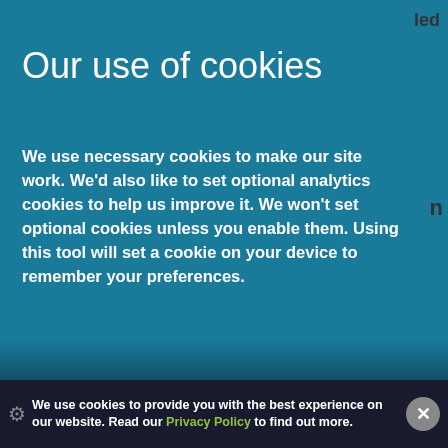Our use of cookies
We use necessary cookies to make our site work. We'd also like to set optional analytics cookies to help us improve it. We won't set optional cookies unless you enable them. Using this tool will set a cookie on your device to remember your preferences.
For more detailed information about the cookies we use, see our Cookies page
Necessary cookies
Necessary cookies enable core functionality such as security, network management, and accessibility. You may disable these by changing your browser settings, but this may affect how
We use cookies to provide you with the best experience on our website. Read our Privacy Policy to find out more.